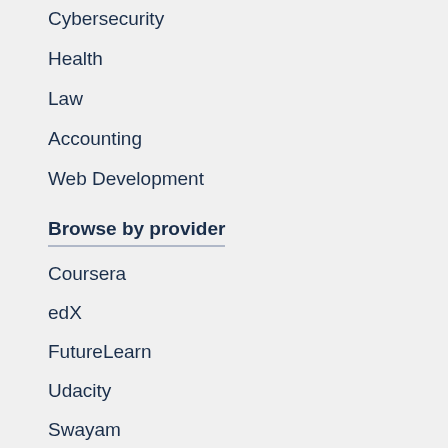Cybersecurity
Health
Law
Accounting
Web Development
Browse by provider
Coursera
edX
FutureLearn
Udacity
Swayam
Udemy
LinkedIn Learning
Browse by university